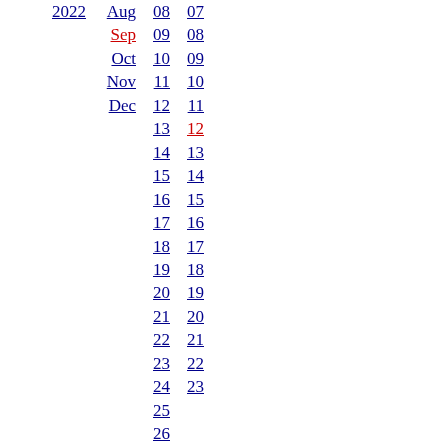2022 Aug 08 07
Sep 09 08
Oct 10 09
Nov 11 10
Dec 12 11
13 12
14 13
15 14
16 15
17 16
18 17
19 18
20 19
21 20
22 21
23 22
24 23
25
26
27
28
29
30